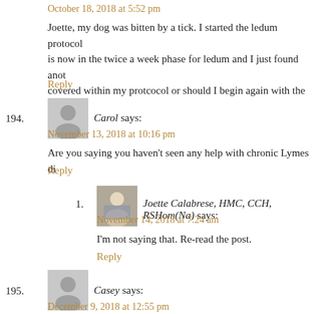October 18, 2018 at 5:52 pm
Joette, my dog was bitten by a tick. I started the ledum protocol and is now in the twice a week phase for ledum and I just found anot covered within my protcocol or should I begin again with the ev
Reply
Carol says:
November 13, 2018 at 10:16 pm
Are you saying you haven't seen any help with chronic Lymes di
Reply
Joette Calabrese, HMC, CCH, RSHom(Na) says:
November 14, 2018 at 7:24 am
I'm not saying that. Re-read the post.
Reply
Casey says:
December 9, 2018 at 12:55 pm